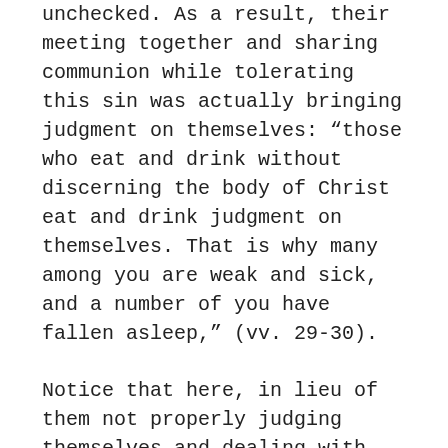unchecked. As a result, their meeting together and sharing communion while tolerating this sin was actually bringing judgment on themselves: “those who eat and drink without discerning the body of Christ eat and drink judgment on themselves. That is why many among you are weak and sick, and a number of you have fallen asleep,” (vv. 29-30).
Notice that here, in lieu of them not properly judging themselves and dealing with sin, God brings sickness and even death. If we look with temporal eyes, this might seem harsh of God. But consider the reason why God does this: “But if we were more discerning with regard to ourselves, we would not come under such judgment. Nevertheless, when we are judged in this way by